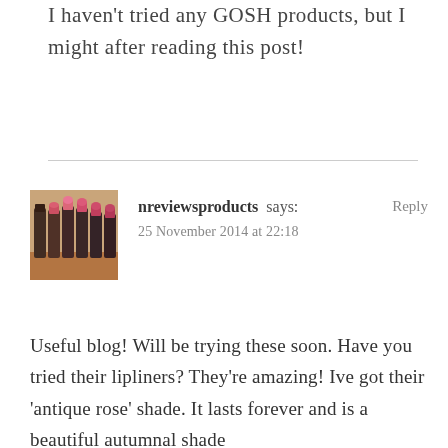I haven't tried any GOSH products, but I might after reading this post!
nreviewsproducts says:
25 November 2014 at 22:18
Reply
[Figure (photo): Avatar image showing several lipsticks with pink/burgundy shades arranged in a row with warm vintage filter]
Useful blog! Will be trying these soon. Have you tried their lipliners? They're amazing! Ive got their 'antique rose' shade. It lasts forever and is a beautiful autumnal shade